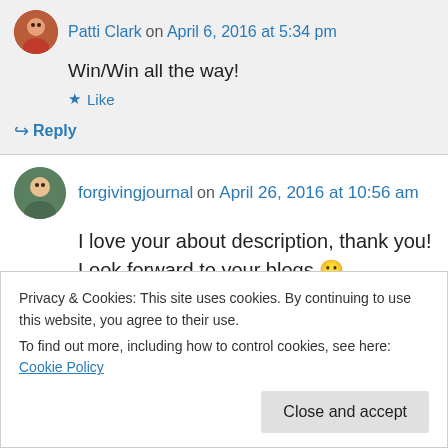Patti Clark on April 6, 2016 at 5:34 pm
Win/Win all the way!
Like
Reply
forgivingjournal on April 26, 2016 at 10:56 am
I love your about description, thank you! Look forward to your blogs 😀
Privacy & Cookies: This site uses cookies. By continuing to use this website, you agree to their use. To find out more, including how to control cookies, see here: Cookie Policy
Close and accept